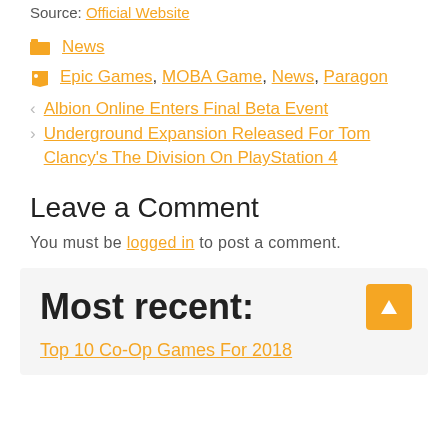Source: Official Website
News (category)
Epic Games, MOBA Game, News, Paragon (tags)
< Albion Online Enters Final Beta Event
> Underground Expansion Released For Tom Clancy's The Division On PlayStation 4
Leave a Comment
You must be logged in to post a comment.
Most recent:
Top 10 Co-Op Games For 2018